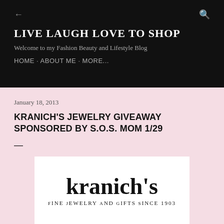← [back arrow]  [search icon]
LIVE LAUGH LOVE TO SHOP
Welcome to my Fashion Beauty and Lifestyle Blog
HOME · ABOUT ME · MORE...
January 18, 2013
KRANICH'S JEWELRY GIVEAWAY SPONSORED BY S.O.S. MOM 1/29
[Figure (logo): Kranich's Fine Jewelry And Gifts Since 1903 logo — bold sans-serif kranich's lettering above small-caps subtitle]